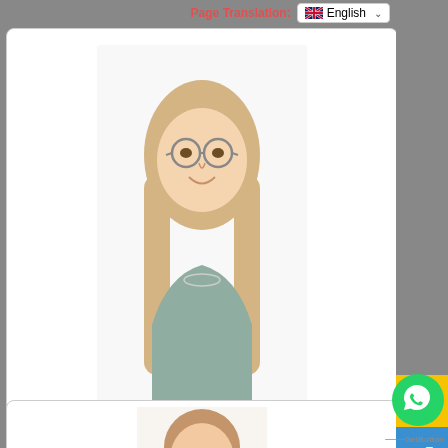Page Translation: 🇬🇧 English
[Figure (photo): Professional headshot of Robyn Pickles, a young blonde woman with glasses wearing a teal sleeveless top]
Robyn Pickles, Year 1 Teacher
"Enhance learning through creative techniques"
Innovation in teaching is important. We use the Magic Arm technique to help our students read and spell better. It really enhances their phonics knowledge!
[Figure (photo): Professional headshot of a woman with light brown hair wearing a red/orange top, partially visible at bottom of page]